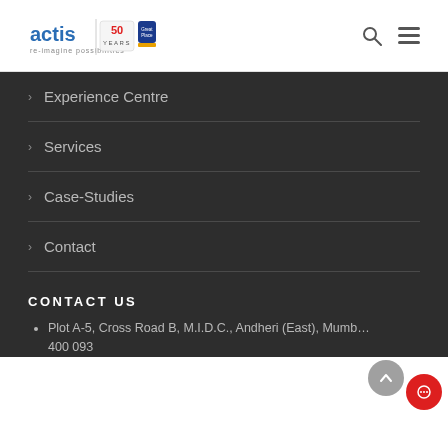actis | 50 Years | Great Place to Work Certified
Experience Centre
Services
Case-Studies
Contact
CONTACT US
Plot A-5, Cross Road B, M.I.D.C., Andheri (East), Mumbai 400 093